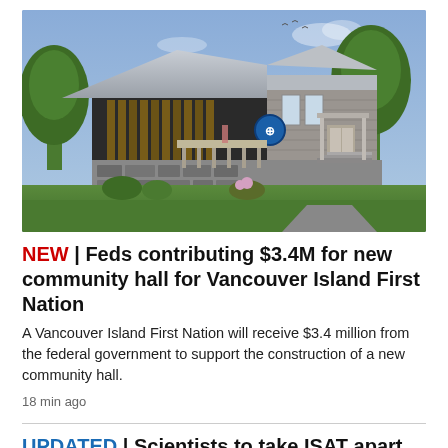[Figure (photo): Architectural rendering of a new community hall building with wood and stone exterior, blue sky background, and trees surrounding the structure. A circular logo/emblem is visible on the building facade.]
NEW | Feds contributing $3.4M for new community hall for Vancouver Island First Nation
A Vancouver Island First Nation will receive $3.4 million from the federal government to support the construction of a new community hall.
18 min ago
UPDATED | Scientists to take ISAT apart of B.C.